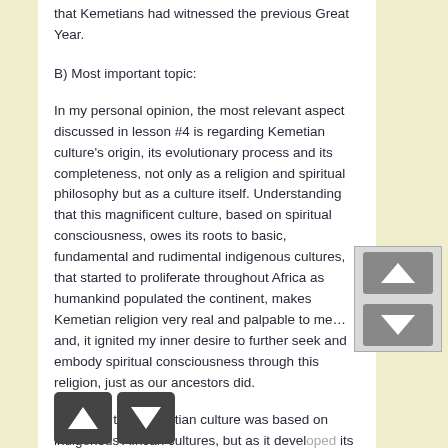that Kemetians had witnessed the previous Great Year.
B) Most important topic:
In my personal opinion, the most relevant aspect discussed in lesson #4 is regarding Kemetian culture's origin, its evolutionary process and its completeness, not only as a religion and spiritual philosophy but as a culture itself. Understanding that this magnificent culture, based on spiritual consciousness, owes its roots to basic, fundamental and rudimental indigenous cultures, that started to proliferate throughout Africa as humankind populated the continent, makes Kemetian religion very real and palpable to me… and, it ignited my inner desire to further seek and embody spiritual consciousness through this religion, just as our ancestors did.
Realizing that Kemetian culture was based on indigenous African cultures, but as it developed its own social, political, economic and religious aspects along with the influence of the environment and contact with other existing